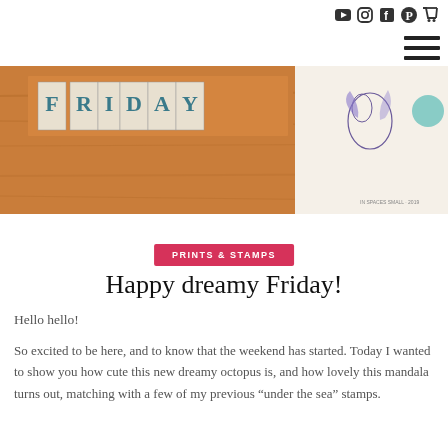[social icons: YouTube, Instagram, Facebook, Pinterest, Cart] [hamburger menu]
[Figure (photo): A wooden table surface with letter stamps spelling FRIDAY on the left side, and decorative stationery/prints with bird/floral illustrations on the right, on a cream background.]
PRINTS & STAMPS
Happy dreamy Friday!
Hello hello!
So excited to be here, and to know that the weekend has started. Today I wanted to show you how cute this new dreamy octopus is, and how lovely this mandala turns out, matching with a few of my previous “under the sea” stamps.